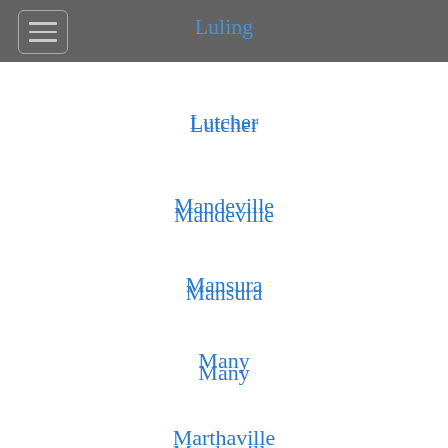Luling
Lutcher
Mandeville
Mansura
Many
Marthaville
Mathews
Maurepas
Maurice
Melrose